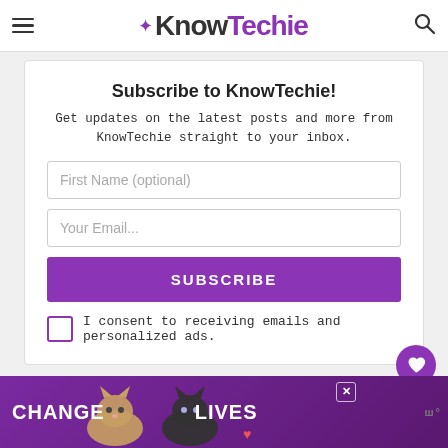KnowTechie
Subscribe to KnowTechie!
Get updates on the latest posts and more from KnowTechie straight to your inbox.
First Name (optional)
Your Email...
SUBSCRIBE
I consent to receiving emails and personalized ads.
[Figure (infographic): Bottom advertisement banner with cats and text CHANGE LIVES on purple background]